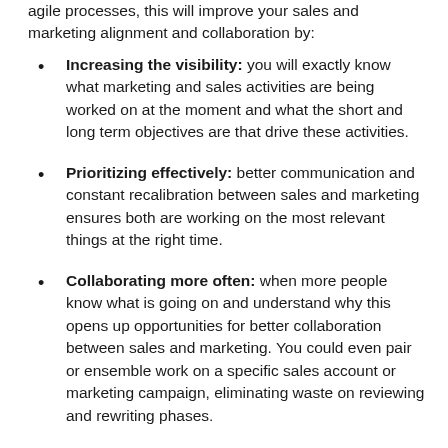agile processes, this will improve your sales and marketing alignment and collaboration by:
Increasing the visibility: you will exactly know what marketing and sales activities are being worked on at the moment and what the short and long term objectives are that drive these activities.
Prioritizing effectively: better communication and constant recalibration between sales and marketing ensures both are working on the most relevant things at the right time.
Collaborating more often: when more people know what is going on and understand why this opens up opportunities for better collaboration between sales and marketing. You could even pair or ensemble work on a specific sales account or marketing campaign, eliminating waste on reviewing and rewriting phases.